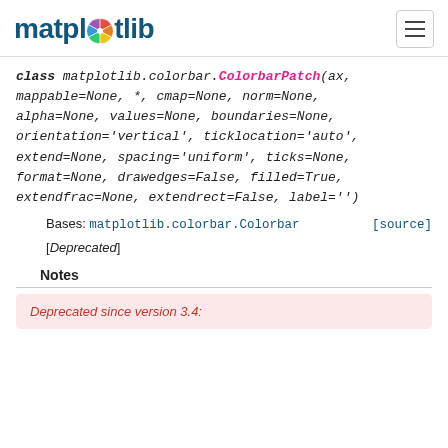matplotlib
class matplotlib.colorbar.ColorbarPatch(ax, mappable=None, *, cmap=None, norm=None, alpha=None, values=None, boundaries=None, orientation='vertical', ticklocation='auto', extend=None, spacing='uniform', ticks=None, format=None, drawedges=False, filled=True, extendfrac=None, extendrect=False, label='')
Bases: matplotlib.colorbar.Colorbar [source]
[Deprecated]
Notes
Deprecated since version 3.4: